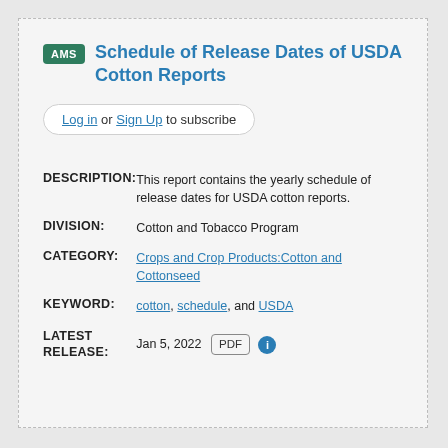AMS Schedule of Release Dates of USDA Cotton Reports
Log in or Sign Up to subscribe
| Field | Value |
| --- | --- |
| DESCRIPTION: | This report contains the yearly schedule of release dates for USDA cotton reports. |
| DIVISION: | Cotton and Tobacco Program |
| CATEGORY: | Crops and Crop Products:Cotton and Cottonseed |
| KEYWORD: | cotton, schedule, and USDA |
| LATEST RELEASE: | Jan 5, 2022  PDF  ℹ |